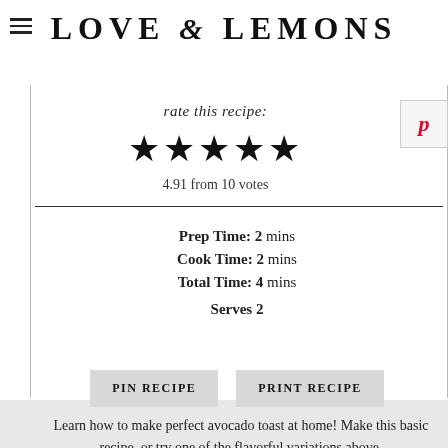LOVE & LEMONS
rate this recipe:
[Figure (other): Five filled black star icons representing recipe rating]
4.91 from 10 votes
Prep Time: 2 mins
Cook Time: 2 mins
Total Time: 4 mins
Serves 2
PIN RECIPE
PRINT RECIPE
Learn how to make perfect avocado toast at home! Make this basic recipe, or try one of the flavorful variations above.